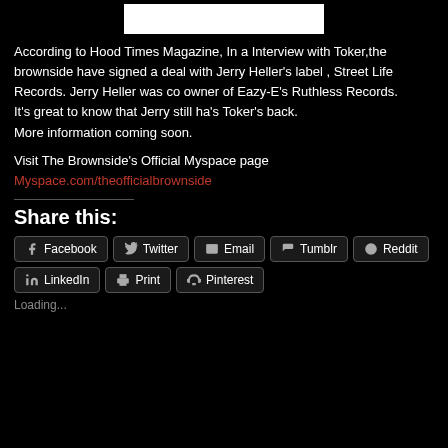[Figure (photo): Top portion of an image (cropped), showing partial content on black background]
According to Hood Times Magazine, In a Interview with Toker,the brownside have signed a deal with Jerry Heller's label , Street Life Records. Jerry Heller was co owner of Eazy-E's Ruthless Records.
It's great to know that Jerry still ha's Toker's back.
More information coming soon.
Visit The Brownside's Official Myspace page Myspace.com/theofficialbrownside
Share this:
Facebook
Twitter
Email
Tumblr
Reddit
LinkedIn
Print
Pinterest
Loading...